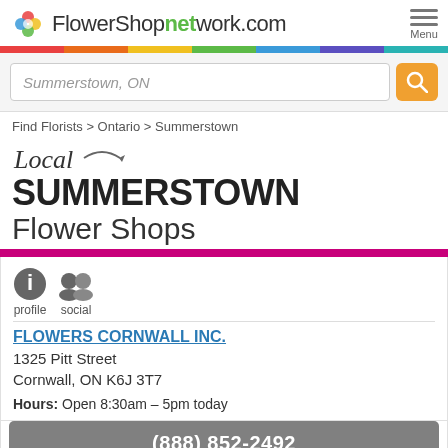FlowerShopnetwork.com
Summerstown, ON
Find Florists > Ontario > Summerstown
Local SUMMERSTOWN Flower Shops
profile  social
FLOWERS CORNWALL INC.
1325 Pitt Street
Cornwall, ON K6J 3T7
Hours: Open 8:30am – 5pm today
(888) 852-2492
(613) 933-9439